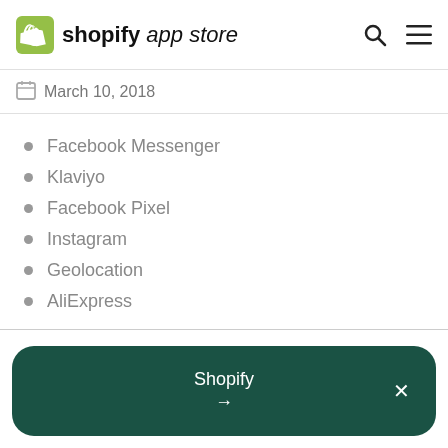shopify app store
March 10, 2018
Facebook Messenger
Klaviyo
Facebook Pixel
Instagram
Geolocation
AliExpress
Shopify →